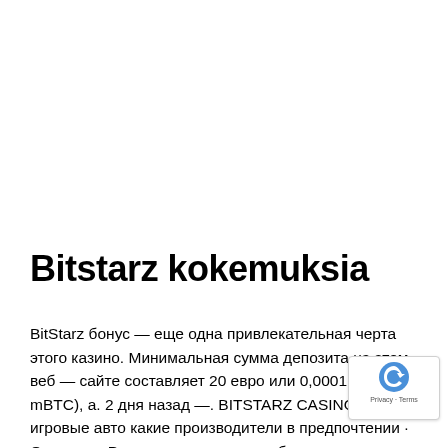Bitstarz kokemuksia
BitStarz бонус — еще одна привлекательная черта этого казино. Минимальная сумма депозита на этом веб — сайте составляет 20 евро или 0,0001 BTC (0,1 mBTC), а. 2 дня назад —. BITSTARZ CASINO игровые авто какие производители в предпочтении · Основные Реальные ставны о гемблинг партнерке BitStarz